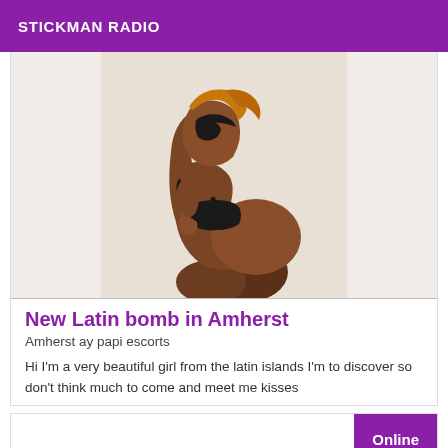STICKMAN RADIO
[Figure (photo): Photo of a woman in a black bikini posed sideways against a light background]
New Latin bomb in Amherst
Amherst ay papi escorts
Hi I'm a very beautiful girl from the latin islands I'm to discover so don't think much to come and meet me kisses
Online